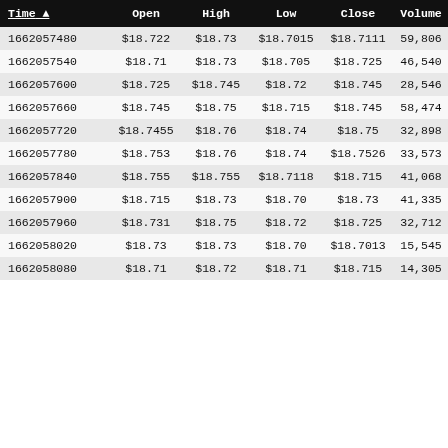| Time ▲ | Open | High | Low | Close | Volume |
| --- | --- | --- | --- | --- | --- |
| 1662057480 | $18.722 | $18.73 | $18.7015 | $18.7111 | 59,806 |
| 1662057540 | $18.71 | $18.73 | $18.705 | $18.725 | 46,540 |
| 1662057600 | $18.725 | $18.745 | $18.72 | $18.745 | 28,546 |
| 1662057660 | $18.745 | $18.75 | $18.715 | $18.745 | 58,474 |
| 1662057720 | $18.7455 | $18.76 | $18.74 | $18.75 | 32,898 |
| 1662057780 | $18.753 | $18.76 | $18.74 | $18.7526 | 33,573 |
| 1662057840 | $18.755 | $18.755 | $18.7118 | $18.715 | 41,068 |
| 1662057900 | $18.715 | $18.73 | $18.70 | $18.73 | 41,335 |
| 1662057960 | $18.731 | $18.75 | $18.72 | $18.725 | 32,712 |
| 1662058020 | $18.73 | $18.73 | $18.70 | $18.7013 | 15,545 |
| 1662058080 | $18.71 | $18.72 | $18.71 | $18.715 | 14,305 |